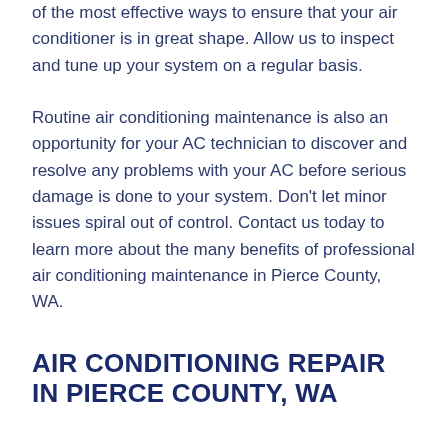of the most effective ways to ensure that your air conditioner is in great shape. Allow us to inspect and tune up your system on a regular basis.
Routine air conditioning maintenance is also an opportunity for your AC technician to discover and resolve any problems with your AC before serious damage is done to your system. Don't let minor issues spiral out of control. Contact us today to learn more about the many benefits of professional air conditioning maintenance in Pierce County, WA.
AIR CONDITIONING REPAIR IN PIERCE COUNTY, WA